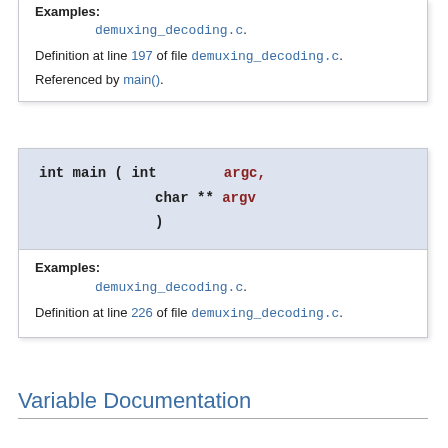Examples:
demuxing_decoding.c.
Definition at line 197 of file demuxing_decoding.c.
Referenced by main().
[Figure (screenshot): Code signature: int main ( int argc, char ** argv )]
Examples:
demuxing_decoding.c.
Definition at line 226 of file demuxing_decoding.c.
Variable Documentation